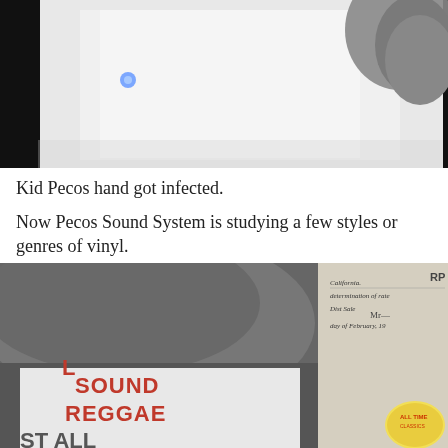[Figure (photo): Close-up photo of a cat's face/paw area against a white background with a small blue light dot visible]
Kid Pecos hand got infected.
Now Pecos Sound System is studying a few styles or genres of vinyl.
[Figure (photo): Photo showing a cat's paw/body near crates or boxes, with one box reading 'SOUND REGGAE' in colorful letters, and documents/papers visible on the right side]